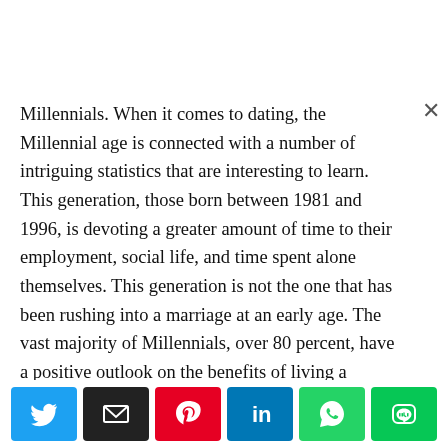Millennials. When it comes to dating, the Millennial age is connected with a number of intriguing statistics that are interesting to learn. This generation, those born between 1981 and 1996, is devoting a greater amount of time to their employment, social life, and time spent alone themselves. This generation is not the one that has been rushing into a marriage at an early age. The vast majority of Millennials, over 80 percent, have a positive outlook on the benefits of living a solitary life.
[Figure (infographic): Social sharing toolbar with Twitter, Email, Pinterest, LinkedIn, WhatsApp, and LINE buttons]